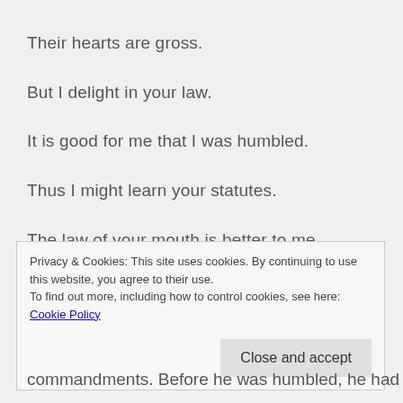Their hearts are gross.
But I delight in your law.
It is good for me that I was humbled.
Thus I might learn your statutes.
The law of your mouth is better to me
Privacy & Cookies: This site uses cookies. By continuing to use this website, you agree to their use.
To find out more, including how to control cookies, see here: Cookie Policy
commandments. Before he was humbled, he had